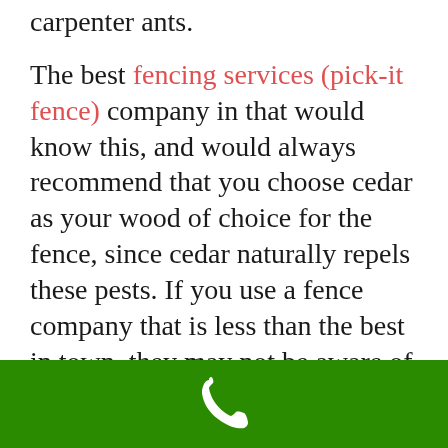carpenter ants.
The best fencing services (pick-it fence) company in that would know this, and would always recommend that you choose cedar as your wood of choice for the fence, since cedar naturally repels these pests. If you use a fence company that is less than the best in town, they may not be aware of these unique conditions, and your fence will likely NOT be made to last!
Besides examining he quality of their final
[Figure (other): Green bar at bottom of page with a white phone/call icon]